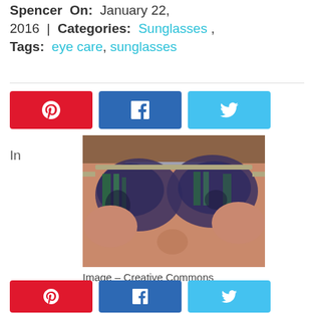Spencer  On:  January 22, 2016  |  Categories:  Sunglasses ,  Tags:  eye care, sunglasses
[Figure (photo): Person wearing reflective aviator sunglasses, close-up selfie showing face and sunglasses reflecting outdoor scene with trees]
Image – Creative Commons